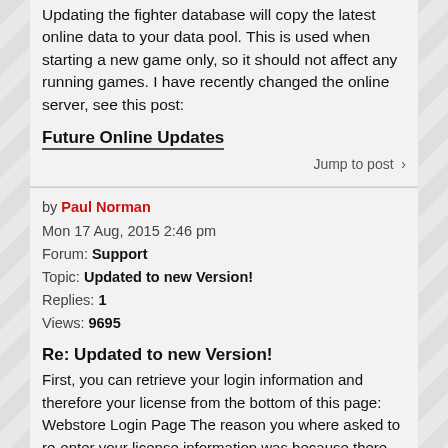Updating the fighter database will copy the latest online data to your data pool. This is used when starting a new game only, so it should not affect any running games. I have recently changed the online server, see this post:
Future Online Updates
Jump to post >
by Paul Norman
Mon 17 Aug, 2015 2:46 pm
Forum: Support
Topic: Updated to new Version!
Replies: 1
Views: 9695
Re: Updated to new Version!
First, you can retrieve your login information and therefore your license from the bottom of this page: Webstore Login Page The reason you where asked to re-enter your license information was because there were changes to the licensing system between versions 1.2 and 1.4. This is not always the case...
Jump to post >
by Paul Norman
Mon 17 Aug, 2015 10:48 am